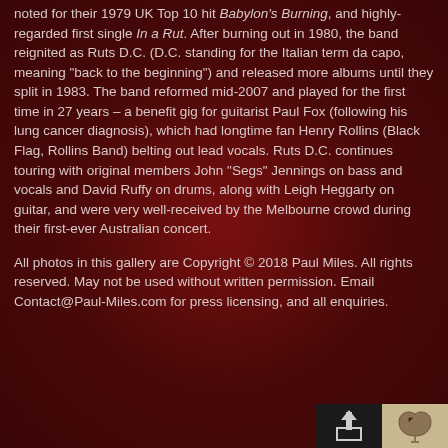noted for their 1979 UK Top 10 hit Babylon's Burning, and highly-regarded first single In a Rut. After burning out in 1980, the band reignited as Ruts D.C. (D.C. standing for the Italian term da capo, meaning "back to the beginning") and released more albums until they split in 1983. The band reformed mid-2007 and played for the first time in 27 years – a benefit gig for guitarist Paul Fox (following his lung cancer diagnosis), which had longtime fan Henry Rollins (Black Flag, Rollins Band) belting out lead vocals. Ruts D.C. continues touring with original members John "Segs" Jennings on bass and vocals and David Ruffy on drums, along with Leigh Heggarty on guitar, and were very well-received by the Melbourne crowd during their first-ever Australian concert.
All photos in this gallery are Copyright © 2018 Paul Miles. All rights reserved. May not be used without written permission. Email Contact@Paul-Miles.com for press licensing, and all enquiries.